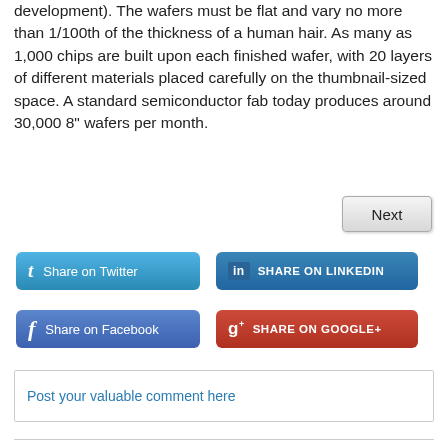development). The wafers must be flat and vary no more than 1/100th of the thickness of a human hair. As many as 1,000 chips are built upon each finished wafer, with 20 layers of different materials placed carefully on the thumbnail-sized space. A standard semiconductor fab today produces around 30,000 8" wafers per month.
Next
[Figure (screenshot): Share on Twitter button (blue)]
[Figure (screenshot): Share on LinkedIn button (dark blue)]
[Figure (screenshot): Share on Facebook button (blue)]
[Figure (screenshot): Share on Google+ button (red)]
Post your valuable comment here